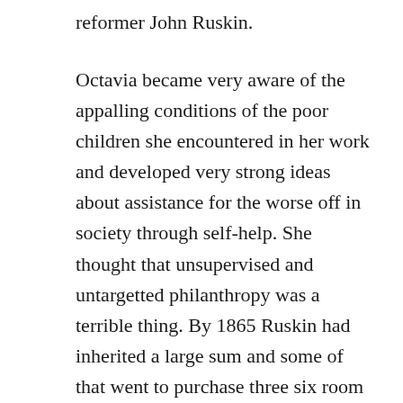reformer John Ruskin.
Octavia became very aware of the appalling conditions of the poor children she encountered in her work and developed very strong ideas about assistance for the worse off in society through self-help. She thought that unsupervised and untargetted philanthropy was a terrible thing. By 1865 Ruskin had inherited a large sum and some of that went to purchase three six room cottages in Marylebone which were in a pretty rough state of repair. He put Octavia in charge of the project and of a subsequent group of another five houses nearby which they leased the next year. Through his contacts Ruskin knew that